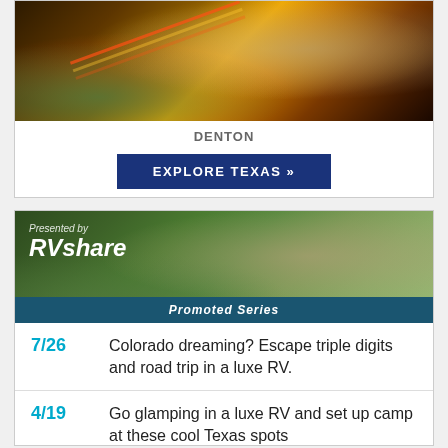[Figure (photo): Aerial night view of Denton, Texas showing illuminated roads and parking areas with warm orange and red light trails]
DENTON
EXPLORE TEXAS »
[Figure (photo): RVshare promoted series banner showing a luxury RV parked at a campsite with people gathered around, presented by RVshare. Promoted Series label at bottom.]
7/26 Colorado dreaming? Escape triple digits and road trip in a luxe RV.
4/19 Go glamping in a luxe RV and set up camp at these cool Texas spots